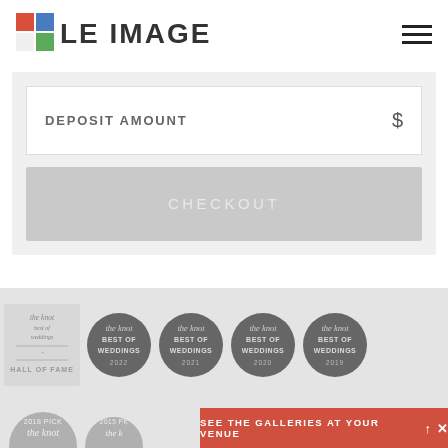[Figure (logo): Le Image logo with colored square grid icon (red, blue, green squares) followed by text 'LE IMAGE' in light gray/black]
[Figure (screenshot): Hamburger menu icon (three horizontal lines) in top right corner]
DEPOSIT AMOUNT
$
CHECKOUT
[Figure (logo): The Knot Best of Weddings Hall of Fame badge - light gray rectangular badge]
[Figure (logo): The Knot Best of Weddings 2022 circular dark gray badge]
[Figure (logo): The Knot Best of Weddings 2021 circular dark gray badge]
[Figure (logo): The Knot Best of Weddings 2020 circular dark gray badge]
[Figure (logo): The Knot Best of Weddings 2019 circular dark gray badge]
[Figure (logo): The Knot 2018 Pick badge (partial, bottom row)]
[Figure (logo): The Knot badge (partial, bottom row)]
SEE THE GALLERIES AT YOUR VENUE ↑ ✕